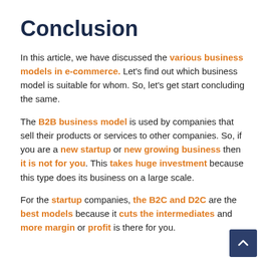Conclusion
In this article, we have discussed the various business models in e-commerce. Let's find out which business model is suitable for whom. So, let's get start concluding the same.
The B2B business model is used by companies that sell their products or services to other companies. So, if you are a new startup or new growing business then it is not for you. This takes huge investment because this type does its business on a large scale.
For the startup companies, the B2C and D2C are the best models because it cuts the intermediates and more margin or profit is there for you.